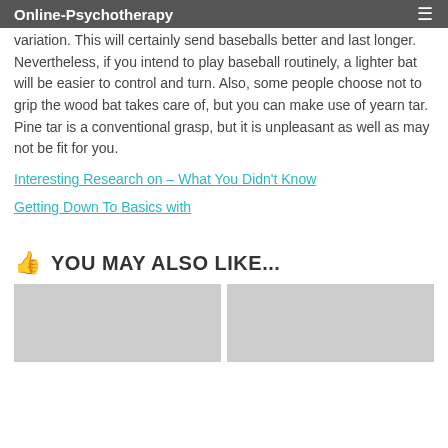Online-Psychotherapy
variation. This will certainly send baseballs better and last longer. Nevertheless, if you intend to play baseball routinely, a lighter bat will be easier to control and turn. Also, some people choose not to grip the wood bat takes care of, but you can make use of yearn tar. Pine tar is a conventional grasp, but it is unpleasant as well as may not be fit for you.
Interesting Research on – What You Didn't Know
Getting Down To Basics with
YOU MAY ALSO LIKE...
[Figure (photo): Two placeholder image boxes side by side]